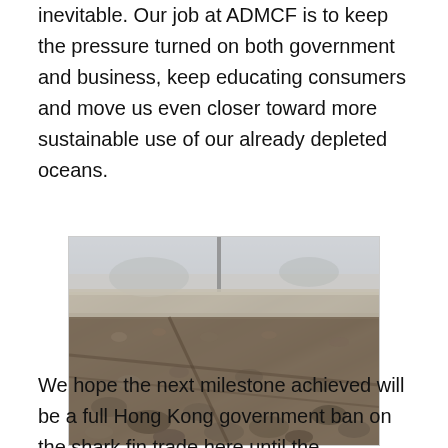inevitable. Our job at ADMCF is to keep the pressure turned on both government and business, keep educating consumers and move us even closer toward more sustainable use of our already depleted oceans.
[Figure (photo): Aerial/overhead view of large quantities of shark fins laid out drying on a rooftop, with a concrete wall border and hazy mountains or waterway in the background.]
Photo by Alex Hofford
We hope the next milestone achieved will be a full Hong Kong government ban on the shark fin trade here until the